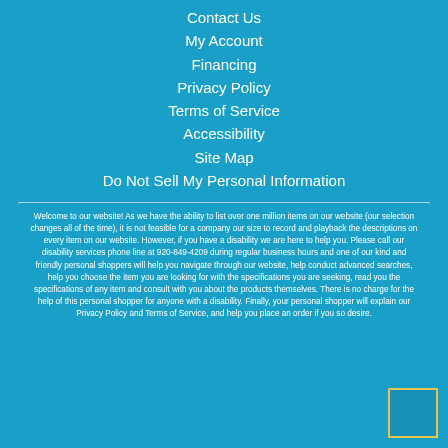Contact Us
My Account
Financing
Privacy Policy
Terms of Service
Accessibility
Site Map
Do Not Sell My Personal Information
Welcome to our website! As we have the ability to list over one million items on our website (our selection changes all of the time), it is not feasible for a company our size to record and playback the descriptions on every item on our website. However, if you have a disability we are here to help you. Please call our disability services phone line at 920-849-4209 during regular business hours and one of our kind and friendly personal shoppers will help you navigate through our website, help conduct advanced searches, help you choose the item you are looking for with the specifications you are seeking, read you the specifications of any item and consult with you about the products themselves. There is no charge for the help of this personal shopper for anyone with a disability. Finally, your personal shopper will explain our Privacy Policy and Terms of Service, and help you place an order if you so desire.